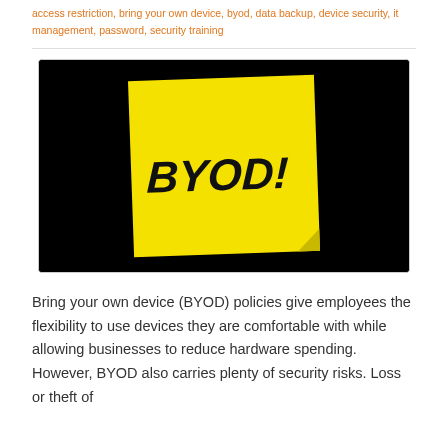access restriction, bring your own device, byod, data backup, device security, it management, password, security training
[Figure (photo): Black background with a yellow sticky note displaying the text 'BYOD!' in large bold handwritten-style letters]
Bring your own device (BYOD) policies give employees the flexibility to use devices they are comfortable with while allowing businesses to reduce hardware spending. However, BYOD also carries plenty of security risks. Loss or theft of